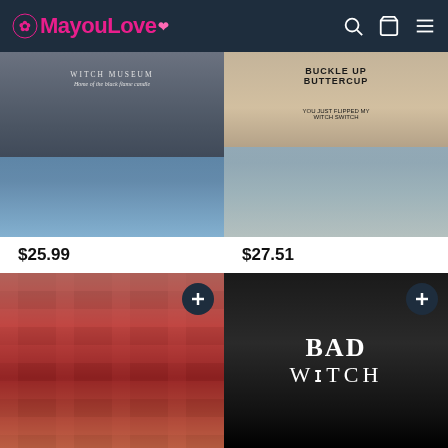MayouLove
[Figure (photo): Gray graphic t-shirt with Witch Museum text, paired with distressed jeans, model holding coffee cup]
[Figure (photo): Beige long-sleeve shirt with Buckle Up Buttercup witch graphic and You Just Flipped My Witch Switch text, paired with denim cutoff shorts]
$25.99
$27.51
[Figure (photo): Red plaid flannel shacket/jacket, model with blonde hair holding coffee cup]
[Figure (photo): Black hoodie with BAD WITCH text in white gothic font]